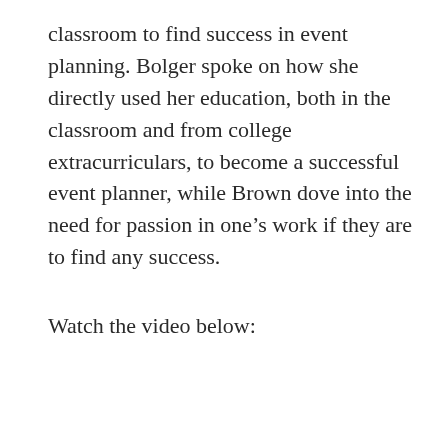classroom to find success in event planning. Bolger spoke on how she directly used her education, both in the classroom and from college extracurriculars, to become a successful event planner, while Brown dove into the need for passion in one's work if they are to find any success.
Watch the video below: